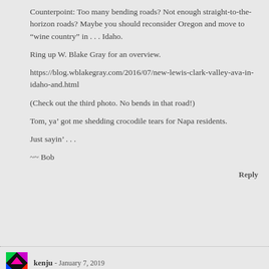Counterpoint: Too many bending roads? Not enough straight-to-the-horizon roads? Maybe you should reconsider Oregon and move to “wine country” in . . . Idaho.

Ring up W. Blake Gray for an overview.

https://blog.wblakegray.com/2016/07/new-lewis-clark-valley-ava-in-idaho-and.html

(Check out the third photo. No bends in that road!)

Tom, ya’ got me shedding crocodile tears for Napa residents.

Just sayin’ . . .

~~ Bob
Reply
kenju - January 7, 2019